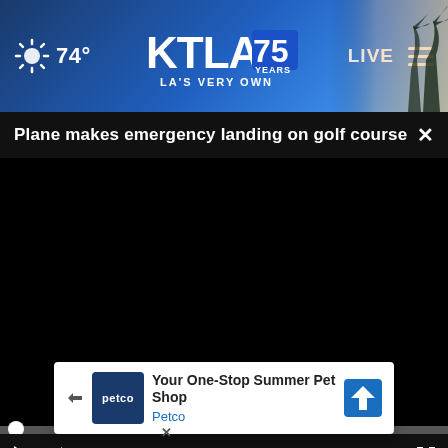[Figure (screenshot): KTLA 75 Years television station website header with weather (74°F), station logo 'KTLA 75 YEARS - LA'S VERY OWN', LIVE button, hamburger menu, and palm tree background]
Plane makes emergency landing on golf course
[Figure (screenshot): Video player showing black screen (video not loaded) with progress bar at start (00:00), play button, mute button, time display '00:00', and fullscreen button]
[Figure (photo): Bottom strip showing partial images from news thumbnails]
[Figure (screenshot): Petco advertisement: 'Your One-Stop Summer Pet Shop' by Petco with Petco logo and navigation arrow icon]